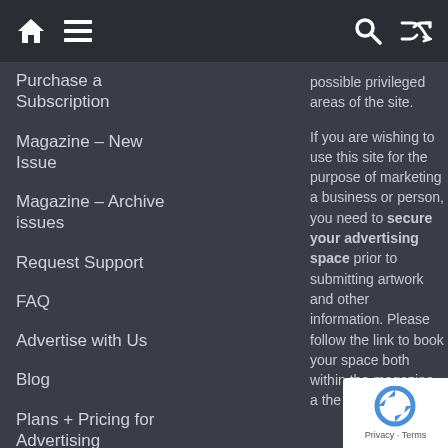Navigation bar with home, menu, search, and shuffle icons
Purchase a Subscription
Magazine – New Issue
Magazine – Archive issues
Request Support
FAQ
Advertise with Us
Blog
Plans + Pricing for Advertising
OUR NEW MEDIA KIT IS NOW
possible privileged areas of the site.

If you are wishing to use this site for the purpose of marketing a business or person, you need to secure your advertising space prior to submitting artwork and other information. Please follow the link to book your space both within the magazine and the website